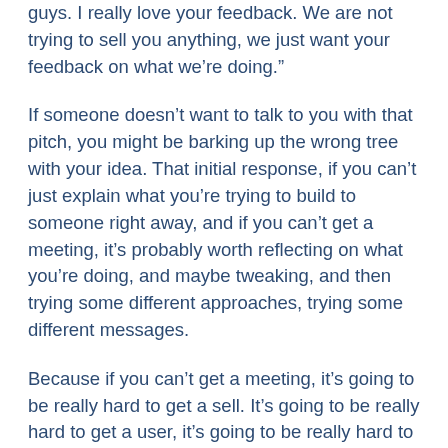guys. I really love your feedback. We are not trying to sell you anything, we just want your feedback on what we’re doing.”
If someone doesn’t want to talk to you with that pitch, you might be barking up the wrong tree with your idea. That initial response, if you can’t just explain what you’re trying to build to someone right away, and if you can’t get a meeting, it’s probably worth reflecting on what you’re doing, and maybe tweaking, and then trying some different approaches, trying some different messages.
Because if you can’t get a meeting, it’s going to be really hard to get a sell. It’s going to be really hard to get a user, it’s going to be really hard to convert them into a paying customer.